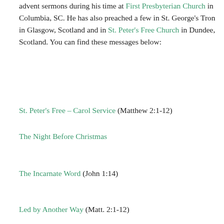advent sermons during his time at First Presbyterian Church in Columbia, SC. He has also preached a few in St. George's Tron in Glasgow, Scotland and in St. Peter's Free Church in Dundee, Scotland. You can find these messages below:
St. Peter's Free – Carol Service (Matthew 2:1-12)
The Night Before Christmas
The Incarnate Word (John 1:14)
Led by Another Way (Matt. 2:1-12)